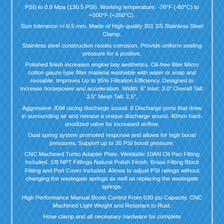PSI) to 0.9 Mpa (130.5 PSI). Working temperature: -76°F (-60°C) to +500°F (+260°C).
Size tolerance:+/-0.5 mm. Made of High quality 301 SS Stainless Steel Clamp.
Stainless steel construction resists corrosion. Provide uniform sealing pressure for a positive.
Polished finish increases engine bay aesthetics. Oil-free filter Micro cotton gauze type filter material washable with water or soap and reusable. Improves Up to 95% Filtration Efficiency. Designed to increase horsepower and acceleration. Width: 6" Inlet: 3.0" Overall Tall: 3.5" Mesh Tall: 2.5".
Aggressive JDM racing discharge sound. 8 Discharge ports that draw in surrounding air and release a unique discharge sound. 40mm hard-anodized valve for increased airflow.
Dual spring system promoted response and allows for high boost pressures. Support up to 30 PSI boost pressure.
CNC Machined Turbo Adapter Plate. Weldable 10AN Oil Pan Fitting Included. 1/8 NPT Fittings Natural Polish Finish. Brass Fitting Block Fitting and Port Cover Included. Allows to adjust PSI ratings without changing the wastegate springs as well as replacing the wastegate springs.
High Performance Manual Boost Control From 030 psi Capacity. CNC Machined Light Weight and Resistant to Rust.
Hose clamp and all necessary hardware for complete...